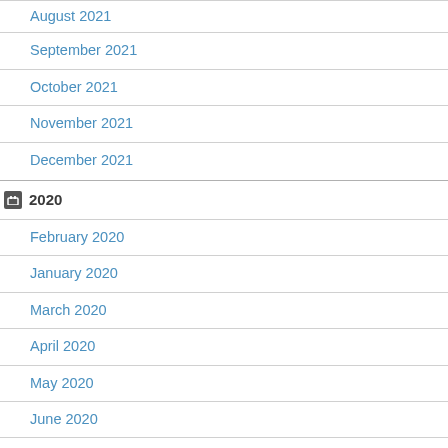August 2021
September 2021
October 2021
November 2021
December 2021
2020
February 2020
January 2020
March 2020
April 2020
May 2020
June 2020
July 2020